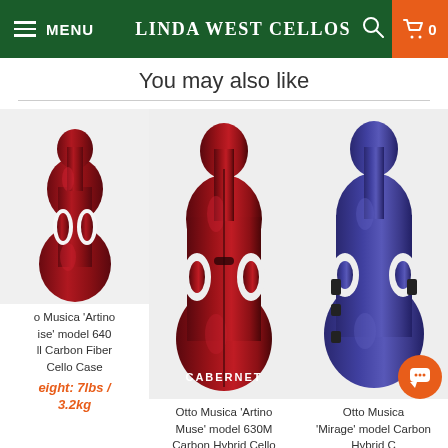MENU | LINDA WEST CELLOS | 0
You may also like
[Figure (photo): Dark red/burgundy cello hard case (Otto Musica Artino Muse model 640 All Carbon Fiber Cello Case), standing upright, photographed from front]
o Musica 'Artino Ise' model 640 ll Carbon Fiber Cello Case
eight: 7lbs / 3.2kg
[Figure (photo): Dark red/cabernet cello hard case (Otto Musica Artino Muse model 630M Carbon Hybrid Cello Case) with CABERNET label visible, standing upright]
Otto Musica 'Artino Muse' model 630M Carbon Hybrid Cello
[Figure (photo): Purple/blue cello hard case (Otto Musica Mirage model Carbon Hybrid Cello Case), standing upright, photographed from front]
Otto Musica 'Mirage' model Carbon Hybrid C